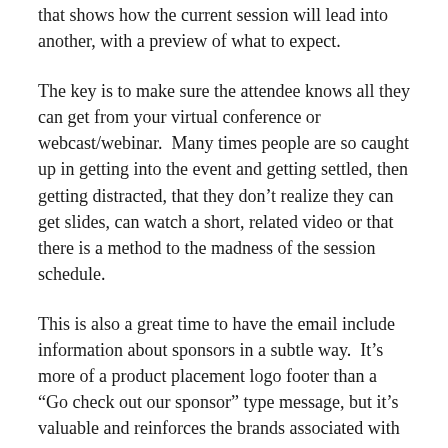that shows how the current session will lead into another, with a preview of what to expect.
The key is to make sure the attendee knows all they can get from your virtual conference or webcast/webinar.  Many times people are so caught up in getting into the event and getting settled, then getting distracted, that they don't realize they can get slides, can watch a short, related video or that there is a method to the madness of the session schedule.
This is also a great time to have the email include information about sponsors in a subtle way.  It's more of a product placement logo footer than a “Go check out our sponsor” type message, but it's valuable and reinforces the brands associated with your event.